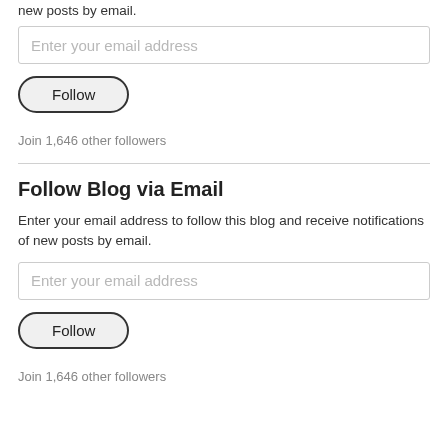new posts by email.
Enter your email address
Follow
Join 1,646 other followers
Follow Blog via Email
Enter your email address to follow this blog and receive notifications of new posts by email.
Enter your email address
Follow
Join 1,646 other followers